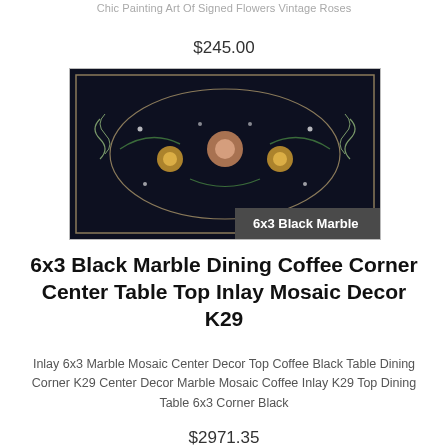Chic Painting Art Of Signed Flowers Vintage Roses
$245.00
[Figure (photo): Black marble table top with floral mosaic inlay design, dark background with gold and colorful flower patterns, labeled '6x3 Black Marble']
6x3 Black Marble Dining Coffee Corner Center Table Top Inlay Mosaic Decor K29
Inlay 6x3 Marble Mosaic Center Decor Top Coffee Black Table Dining Corner K29 Center Decor Marble Mosaic Coffee Inlay K29 Top Dining Table 6x3 Corner Black
$2971.35